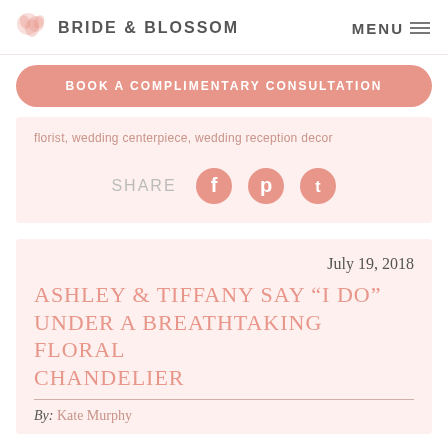BRIDE & BLOSSOM   MENU
BOOK A COMPLIMENTARY CONSULTATION
florist, wedding centerpiece, wedding reception decor
SHARE
July 19, 2018
ASHLEY & TIFFANY SAY "I DO" UNDER A BREATHTAKING FLORAL CHANDELIER
By: Kate Murphy